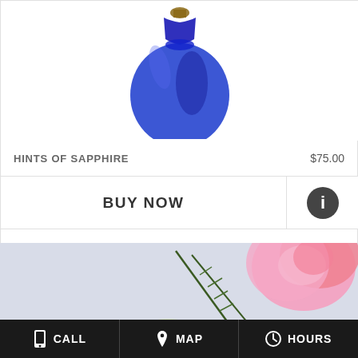[Figure (photo): Blue glass vase with sapphire tones, partially cropped at top, product photo on white background]
HINTS OF SAPPHIRE
$75.00
BUY NOW
[Figure (illustration): Info icon - dark circle with white lowercase i]
[Figure (photo): Floral arrangement with pink roses, green/white flowers, blue hydrangeas, and green foliage on light blue-gray background]
CALL
MAP
HOURS